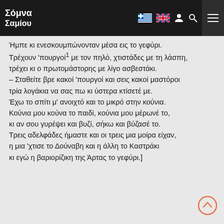Σόμνα Σαμίου
Ήμπε κι ενεσκουμπώνονταν μέσα εις το γεφύρι.
Τρέχουν 'πουργοί¹ με τον πηλό, χτιστάδες με τη λάσπη,
τρέχει κι ο πρωτομάστορης με λίγο ασβεστάκι.
– Σταθείτε βρε κακοί 'πουργοί και σεις κακοί μαστόροι
τρία λογάκια να σας πω κι ύστερα κτίσετέ με.
Έχω το σπίτι μ' ανοιχτό και το μικρό στην κούνια.
Κούνια μου κούνα το παιδί, κούνια μου μέρωνέ το,
κι αν σου γυρέψει και βυζί, σήκω και βύζασέ το.
Τρεις αδελφάδες ήμαστε και οι τρεις μια μοίρα είχαν,
η μια 'χτισε το Δούναβη και η άλλη το Καστράκι
κι εγώ η βαριορίζικη της Άρτας το γεφύρι.]